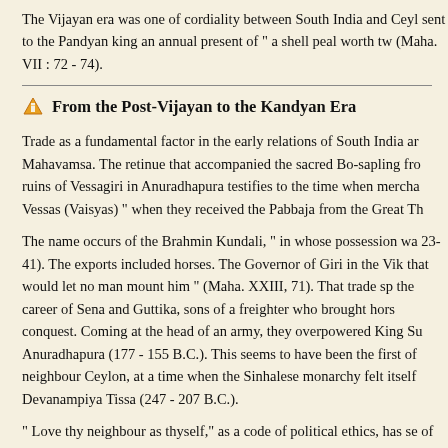The Vijayan era was one of cordiality between South India and Ceyl… sent to the Pandyan king an annual present of " a shell peal worth tw… (Maha. VII : 72 - 74).
From the Post-Vijayan to the Kandyan Era
Trade as a fundamental factor in the early relations of South India ar… Mahavamsa. The retinue that accompanied the sacred Bo-sapling fro… ruins of Vessagiri in Anuradhapura testifies to the time when mercha… Vessas (Vaisyas) " when they received the Pabbaja from the Great Th…
The name occurs of the Brahmin Kundali, " in whose possession wa… 23-41). The exports included horses. The Governor of Giri in the Vik… that would let no man mount him " (Maha. XXIII, 71). That trade sp… the career of Sena and Guttika, sons of a freighter who brought hors… conquest. Coming at the head of an army, they overpowered King Su… Anuradhapura (177 - 155 B.C.). This seems to have been the first of… neighbour Ceylon, at a time when the Sinhalese monarchy felt itself… Devanampiya Tissa (247 - 207 B.C.).
" Love thy neighbour as thyself," as a code of political ethics, has se… of nations, however much it may be cherished as an ideal.
The trail of political conquest, set by Sena and Guttika, was pursued…